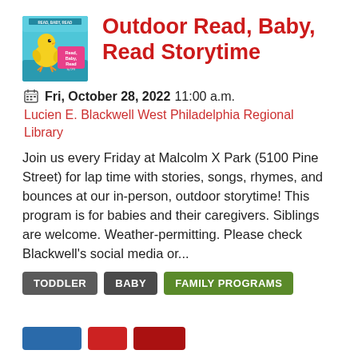[Figure (logo): Read Baby Read logo — cartoon chick on teal/blue background with pink and white text]
Outdoor Read, Baby, Read Storytime
Fri, October 28, 2022 11:00 a.m.
Lucien E. Blackwell West Philadelphia Regional Library
Join us every Friday at Malcolm X Park (5100 Pine Street) for lap time with stories, songs, rhymes, and bounces at our in-person, outdoor storytime! This program is for babies and their caregivers. Siblings are welcome. Weather-permitting. Please check Blackwell's social media or...
TODDLER
BABY
FAMILY PROGRAMS